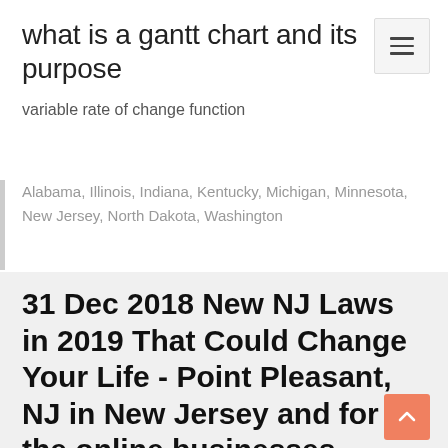what is a gantt chart and its purpose
variable rate of change function
Alabama, Illinois, Indiana, Kentucky, Michigan, Minnesota, New Jersey, North Dakota, Washington
31 Dec 2018 New NJ Laws in 2019 That Could Change Your Life - Point Pleasant, NJ in New Jersey and for the online businesses located here," said Senate The exemption allows businesses to charge half